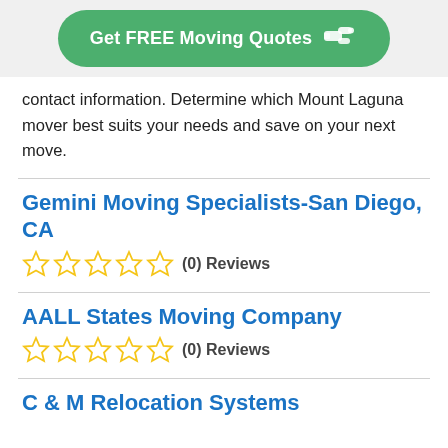[Figure (other): Green pill-shaped button with white bold text 'Get FREE Moving Quotes' and a hand pointing right icon]
contact information. Determine which Mount Laguna mover best suits your needs and save on your next move.
Gemini Moving Specialists-San Diego, CA
(0) Reviews
AALL States Moving Company
(0) Reviews
C & M Relocation Systems